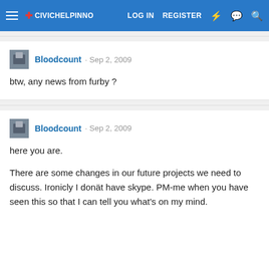LOG IN  REGISTER
Bloodcount · Sep 2, 2009
btw, any news from furby ?
Bloodcount · Sep 2, 2009
here you are.

There are some changes in our future projects we need to discuss. Ironicly I donät have skype. PM-me when you have seen this so that I can tell you what's on my mind.